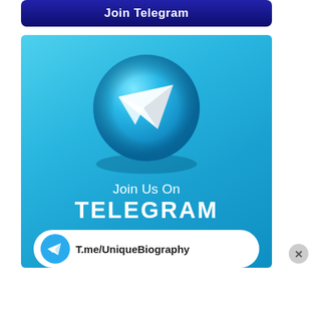[Figure (infographic): Dark navy blue button with white bold text 'Join Telegram' with gradient background]
[Figure (infographic): Telegram promotional banner on cyan/blue gradient background showing 3D Telegram logo sphere, text 'Join Us On TELEGRAM' and bottom bar with T.me/UniqueBiography URL]
[Figure (logo): Close/dismiss button (X) in grey circle at bottom right]